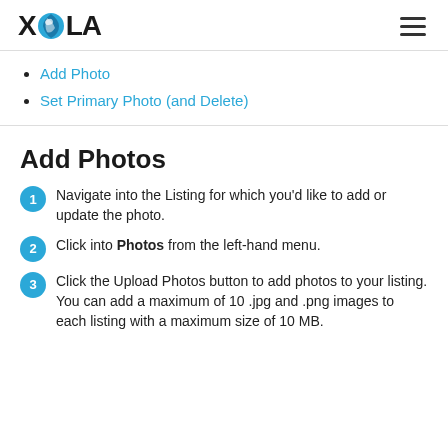XOLA
Add Photo
Set Primary Photo (and Delete)
Add Photos
1. Navigate into the Listing for which you'd like to add or update the photo.
2. Click into Photos from the left-hand menu.
3. Click the Upload Photos button to add photos to your listing. You can add a maximum of 10 .jpg and .png images to each listing with a maximum size of 10 MB.